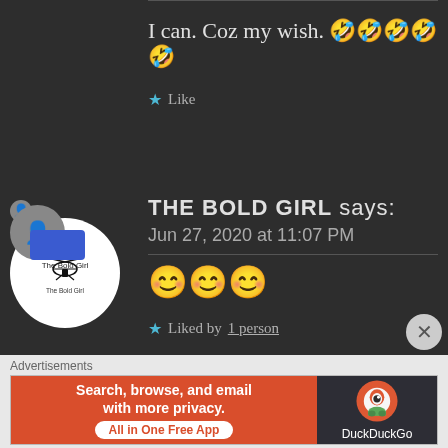I can. Coz my wish. 🤣🤣🤣🤣🤣
★ Like
THE BOLD GIRL says: Jun 27, 2020 at 11:07 PM
😊😊😊
★ Liked by 1 person
Advertisements
[Figure (screenshot): DuckDuckGo advertisement banner: Search, browse, and email with more privacy. All in One Free App. DuckDuckGo logo on dark background.]